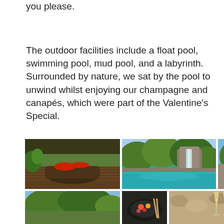you please.
The outdoor facilities include a float pool, swimming pool, mud pool, and a labyrinth. Surrounded by nature, we sat by the pool to unwind whilst enjoying our champagne and canapés, which were part of the Valentine's Special.
[Figure (photo): Grid of six resort/spa photos showing outdoor seating area with red cushions, a pool with waterfall surrounded by tropical greenery, exterior resort view, aerial garden view, food/canape close-up, and champagne glasses.]